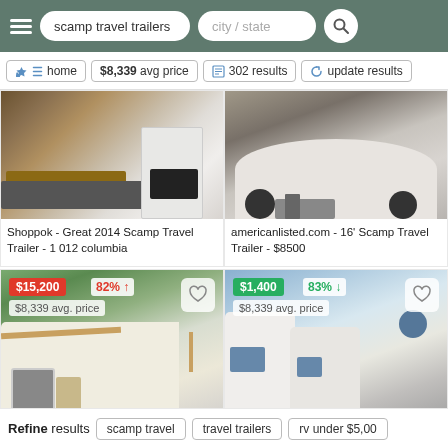scamp travel trailers | city / state
home | $8,339 avg price | 302 results | update results
[Figure (photo): Interior of a Scamp travel trailer showing seating/table area]
Shoppok - Great 2014 Scamp Travel Trailer - 1 012 columbia
[Figure (photo): Rear exterior of a white Scamp travel trailer on dirt ground]
americanlisted.com - 16' Scamp Travel Trailer - $8500
[Figure (photo): Side exterior of a Scamp travel trailer, price $15,200, 82% above avg, $8,339 avg. price]
[Figure (photo): Side exterior of two Scamp travel trailers, price $1,400, 83% below avg, $8,339 avg. price]
Refine results | scamp travel | travel trailers | rv under $5,000